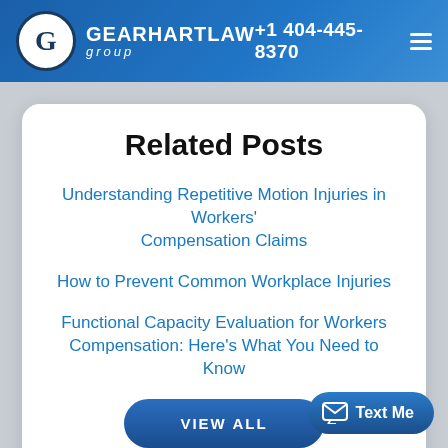GEARHARTLAW group | +1 404-445-8370
Related Posts
Understanding Repetitive Motion Injuries in Workers' Compensation Claims
How to Prevent Common Workplace Injuries
Functional Capacity Evaluation for Workers Compensation: Here's What You Need to Know
VIEW ALL